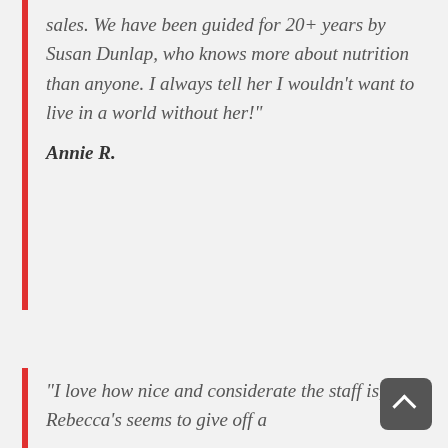sales. We have been guided for 20+ years by Susan Dunlap, who knows more about nutrition than anyone. I always tell her I wouldn't want to live in a world without her!"
Annie R.
“I love how nice and considerate the staff is, and Rebecca’s seems to give off a